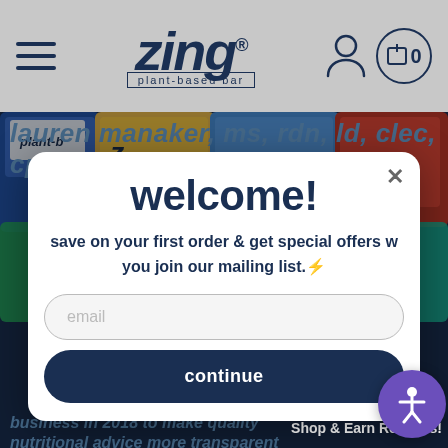zing plant-based bar — navigation bar with hamburger menu, user icon, and cart (0)
lauren manaker, ms, rdn, ld, clec, cpt
welcome!
save on your first order & get special offers when you join our mailing list.⚡
email
continue
business in 2018 to make quality nutritional advice more transparent and accessible. as a mother-of-one an health, lauren works
Shop & Earn Rewards!